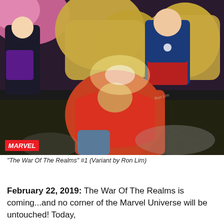[Figure (illustration): Marvel comic book cover art for 'The War Of The Realms' #1 Variant by Ron Lim, showing Marvel superheroes including Hawkeye, Captain America, and Thor in battle. The MARVEL logo badge appears in the bottom-left corner of the image.]
"The War Of The Realms" #1 (Variant by Ron Lim)
February 22, 2019: The War Of The Realms is coming...and no corner of the Marvel Universe will be untouched! Today,